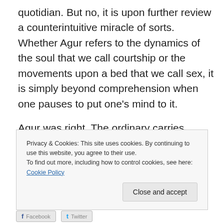quotidian. But no, it is upon further review a counterintuitive miracle of sorts. Whether Agur refers to the dynamics of the soul that we call courtship or the movements upon a bed that we call sex, it is simply beyond comprehension when one pauses to put one's mind to it.
Agur was right. The ordinary carries wonder in its bosom.
Privacy & Cookies: This site uses cookies. By continuing to use this website, you agree to their use.
To find out more, including how to control cookies, see here: Cookie Policy
Close and accept